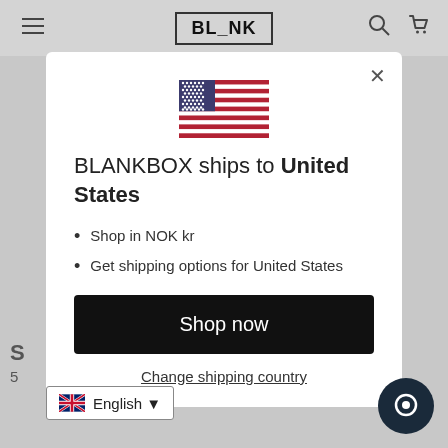[Figure (screenshot): Website header with hamburger menu, BL_NK logo in bordered box, search and cart icons on grey background]
[Figure (illustration): US flag emoji/image centered in modal]
BLANKBOX ships to United States
Shop in NOK kr
Get shipping options for United States
Shop now
Change shipping country
English